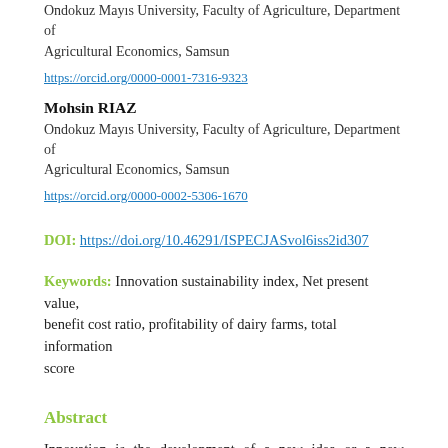Ondokuz Mayıs University, Faculty of Agriculture, Department of Agricultural Economics, Samsun
https://orcid.org/0000-0001-7316-9323
Mohsin RIAZ
Ondokuz Mayıs University, Faculty of Agriculture, Department of Agricultural Economics, Samsun
https://orcid.org/0000-0002-5306-1670
DOI: https://doi.org/10.46291/ISPECJASvol6iss2id307
Keywords: Innovation sustainability index, Net present value, benefit cost ratio, profitability of dairy farms, total information score
Abstract
Innovation is the development of a new idea or a new production method to improve the performance of ongoing operations. The purpose of this study was to determine the adoption of innovation